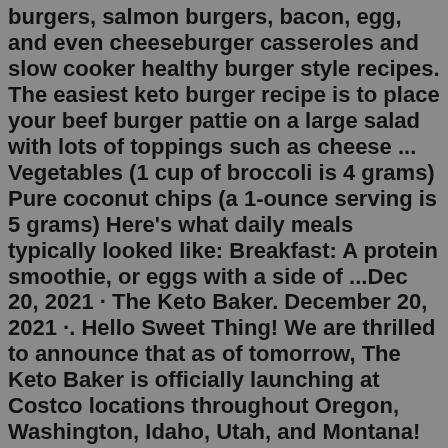burgers, salmon burgers, bacon, egg, and even cheeseburger casseroles and slow cooker healthy burger style recipes. The easiest keto burger recipe is to place your beef burger pattie on a large salad with lots of toppings such as cheese ... Vegetables (1 cup of broccoli is 4 grams) Pure coconut chips (a 1-ounce serving is 5 grams) Here's what daily meals typically looked like: Breakfast: A protein smoothie, or eggs with a side of ...Dec 20, 2021 · The Keto Baker. December 20, 2021 ·. Hello Sweet Thing! We are thrilled to announce that as of tomorrow, The Keto Baker is officially launching at Costco locations throughout Oregon, Washington, Idaho, Utah, and Montana! Over the course of the next few weeks, our Keto Layered Brownies will be available at over 200 Costco locations - stay tuned ... The tempura batter (made with whey protein and xanthan gum) helps make this a low carb food you can delight in. Try this tempura dipping sauce made with dashi to round out the recipe. 3. Low Carb Ramen. Don't be intimidated by the ingredient list for this mouthwatering bacon,